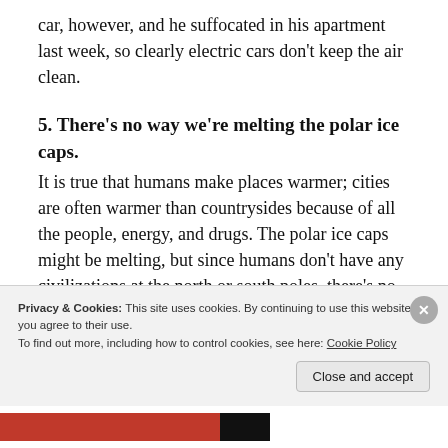car, however, and he suffocated in his apartment last week, so clearly electric cars don't keep the air clean.
5. There's no way we're melting the polar ice caps.
It is true that humans make places warmer; cities are often warmer than countrysides because of all the people, energy, and drugs. The polar ice caps might be melting, but since humans don't have any civilizations at the north or south poles, there's no way we're
Privacy & Cookies: This site uses cookies. By continuing to use this website, you agree to their use.
To find out more, including how to control cookies, see here: Cookie Policy
Close and accept